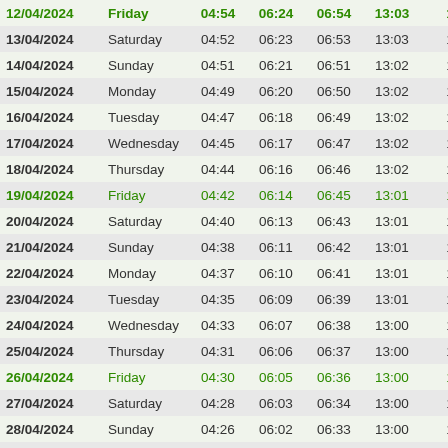| Date | Day | Col3 | Col4 | Col5 | Col6 | Col7 |
| --- | --- | --- | --- | --- | --- | --- |
| 12/04/2024 | Friday | 04:54 | 06:24 | 06:54 | 13:03 | 1 |
| 13/04/2024 | Saturday | 04:52 | 06:23 | 06:53 | 13:03 | 1 |
| 14/04/2024 | Sunday | 04:51 | 06:21 | 06:51 | 13:02 | 1 |
| 15/04/2024 | Monday | 04:49 | 06:20 | 06:50 | 13:02 | 1 |
| 16/04/2024 | Tuesday | 04:47 | 06:18 | 06:49 | 13:02 | 1 |
| 17/04/2024 | Wednesday | 04:45 | 06:17 | 06:47 | 13:02 | 1 |
| 18/04/2024 | Thursday | 04:44 | 06:16 | 06:46 | 13:02 | 1 |
| 19/04/2024 | Friday | 04:42 | 06:14 | 06:45 | 13:01 | 1 |
| 20/04/2024 | Saturday | 04:40 | 06:13 | 06:43 | 13:01 | 1 |
| 21/04/2024 | Sunday | 04:38 | 06:11 | 06:42 | 13:01 | 1 |
| 22/04/2024 | Monday | 04:37 | 06:10 | 06:41 | 13:01 | 1 |
| 23/04/2024 | Tuesday | 04:35 | 06:09 | 06:39 | 13:01 | 1 |
| 24/04/2024 | Wednesday | 04:33 | 06:07 | 06:38 | 13:00 | 1 |
| 25/04/2024 | Thursday | 04:31 | 06:06 | 06:37 | 13:00 | 1 |
| 26/04/2024 | Friday | 04:30 | 06:05 | 06:36 | 13:00 | 1 |
| 27/04/2024 | Saturday | 04:28 | 06:03 | 06:34 | 13:00 | 1 |
| 28/04/2024 | Sunday | 04:26 | 06:02 | 06:33 | 13:00 | 1 |
| 29/04/2024 | Monday | 04:25 | 06:01 | 06:32 | 13:00 | 1 |